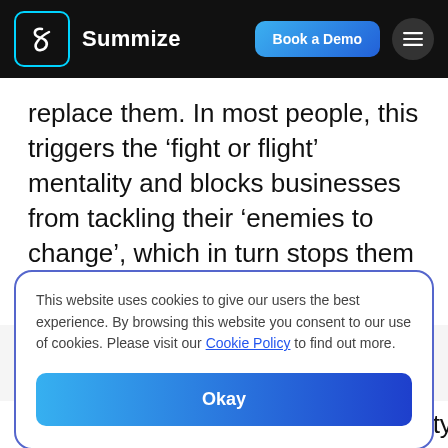Summize | Book a Demo
replace them. In most people, this triggers the ‘fight or flight’ mentality and blocks businesses from tackling their ‘enemies to change’, which in turn stops them from reaching their full potential.
This website uses cookies to give our users the best experience. By browsing this website you consent to our use of cookies. Please visit our Cookie Policy to find out more.
Okay
overriding that fight or flight mentality